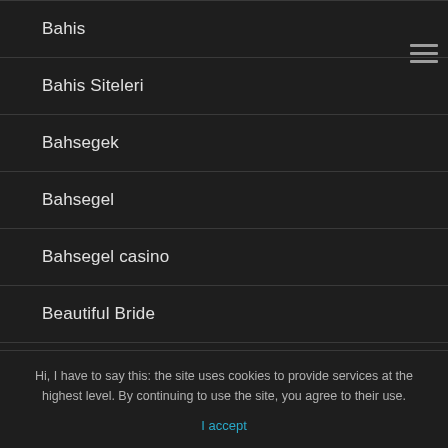Bahis
Bahis Siteleri
Bahsegek
Bahsegel
Bahsegel casino
Beautiful Bride
best adult dating sites
Hi, I have to say this: the site uses cookies to provide services at the highest level. By continuing to use the site, you agree to their use.
I accept